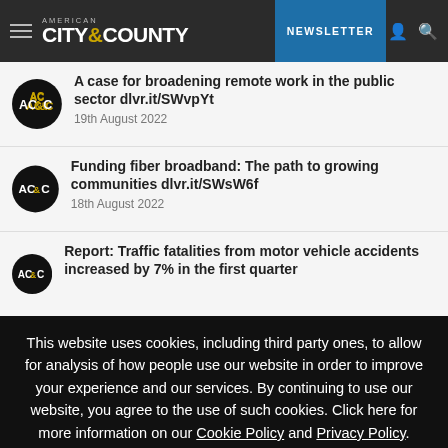AMERICAN CITY & COUNTY — NEWSLETTER
A case for broadening remote work in the public sector dlvr.it/SWvpYt — 19th August 2022
Funding fiber broadband: The path to growing communities dlvr.it/SWsW6f — 18th August 2022
Report: Traffic fatalities from motor vehicle accidents increased by 7% in the first quarter
This website uses cookies, including third party ones, to allow for analysis of how people use our website in order to improve your experience and our services. By continuing to use our website, you agree to the use of such cookies. Click here for more information on our Cookie Policy and Privacy Policy.
Accept and Close ✕
Your browser settings do not allow cross-site tracking for advertising. Click on this page to allow AdRoll to use cross-site tracking to tailor ads to you. Learn more or opt out of this AdRoll tracking by clicking here. This message only appears once.